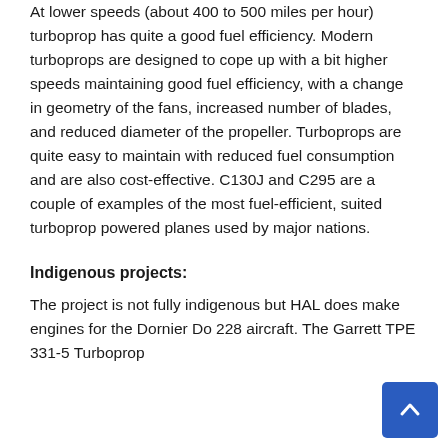At lower speeds (about 400 to 500 miles per hour) turboprop has quite a good fuel efficiency. Modern turboprops are designed to cope up with a bit higher speeds maintaining good fuel efficiency, with a change in geometry of the fans, increased number of blades, and reduced diameter of the propeller. Turboprops are quite easy to maintain with reduced fuel consumption and are also cost-effective. C130J and C295 are a couple of examples of the most fuel-efficient, suited turboprop powered planes used by major nations.
Indigenous projects:
The project is not fully indigenous but HAL does make engines for the Dornier Do 228 aircraft. The Garrett TPE 331-5 Turboprop